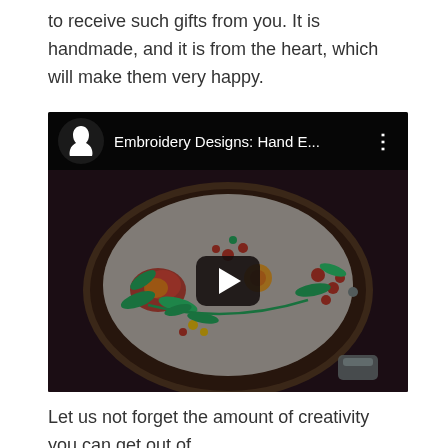to receive such gifts from you. It is handmade, and it is from the heart, which will make them very happy.
[Figure (screenshot): YouTube video thumbnail showing an embroidery hoop with hand-embroidered floral designs (roses, berries, green leaves) on a white fabric background. The video is titled 'Embroidery Designs: Hand E...' with a YouTube channel logo (silhouette of a woman's face) and a play button overlay.]
Let us not forget the amount of creativity you can get out of